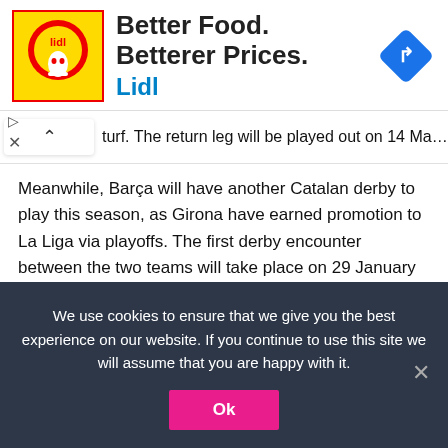[Figure (infographic): Lidl advertisement banner: yellow and red Lidl logo box on left, bold headline 'Better Food. Betterer Prices.' with blue 'Lidl' subtext, blue diamond turn-direction icon on right.]
turf. The return leg will be played out on 14 May 2023.
Meanwhile, Barça will have another Catalan derby to play this season, as Girona have earned promotion to La Liga via playoffs. The first derby encounter between the two teams will take place on 29 January 2023, while the reverse fixture will be played on 09 April 2023 at Camp Nou.
Barcelona and fellow title hopefuls Atletico Madrid will clash on 08 January 2023 at Wanda Metropolitano before squaring off
We use cookies to ensure that we give you the best experience on our website. If you continue to use this site we will assume that you are happy with it.